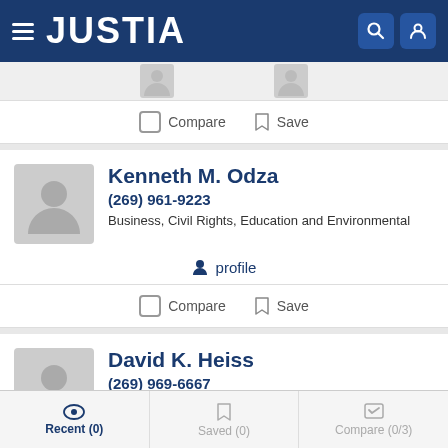JUSTIA
[Figure (screenshot): Top partial attorney profile avatars strip]
Compare  Save
Kenneth M. Odza
(269) 961-9223
Business, Civil Rights, Education and Environmental
profile
Compare  Save
David K. Heiss
(269) 969-6667
Recent (0)  Saved (0)  Compare (0/3)